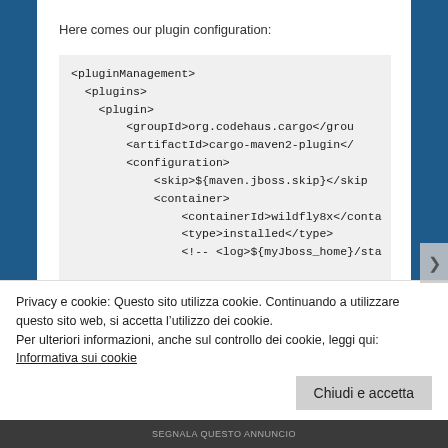Here comes our plugin configuration:
<pluginManagement>
  <plugins>
    <plugin>
        <groupId>org.codehaus.cargo</grou
        <artifactId>cargo-maven2-plugin</
        <configuration>
            <skip>${maven.jboss.skip}</skip
            <container>
                <containerId>wildfly8x</conta
                <type>installed</type>
                <!-- <log>${myJboss_home}/sta
Privacy e cookie: Questo sito utilizza cookie. Continuando a utilizzare questo sito web, si accetta l’utilizzo dei cookie.
Per ulteriori informazioni, anche sul controllo dei cookie, leggi qui:
Informativa sui cookie
Chiudi e accetta